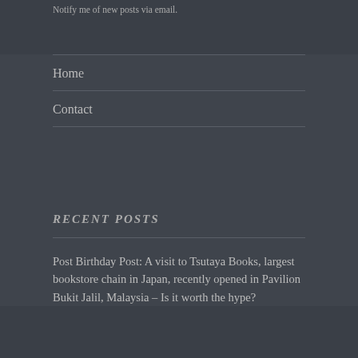Notify me of new posts via email.
Home
Contact
RECENT POSTS
Post Birthday Post: A visit to Tsutaya Books, largest bookstore chain in Japan, recently opened in Pavilion Bukit Jalil, Malaysia – Is it worth the hype?